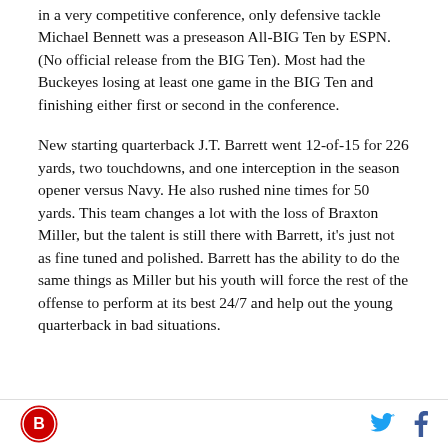in a very competitive conference, only defensive tackle Michael Bennett was a preseason All-BIG Ten by ESPN. (No official release from the BIG Ten). Most had the Buckeyes losing at least one game in the BIG Ten and finishing either first or second in the conference.
New starting quarterback J.T. Barrett went 12-of-15 for 226 yards, two touchdowns, and one interception in the season opener versus Navy. He also rushed nine times for 50 yards. This team changes a lot with the loss of Braxton Miller, but the talent is still there with Barrett, it's just not as fine tuned and polished. Barrett has the ability to do the same things as Miller but his youth will force the rest of the offense to perform at its best 24/7 and help out the young quarterback in bad situations.